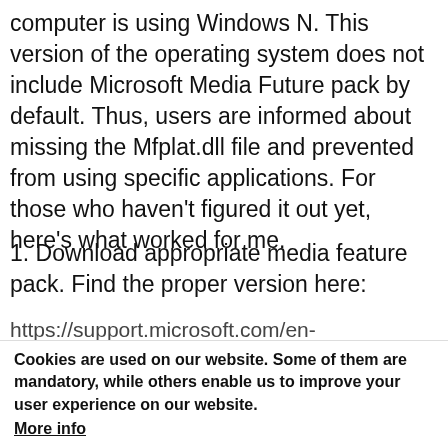computer is using Windows N. This version of the operating system does not include Microsoft Media Future pack by default. Thus, users are informed about missing the Mfplat.dll file and prevented from using specific applications. For those who haven't figured it out yet, here's what worked for me.
1. Download appropriate media feature pack. Find the proper version here:
https://support.microsoft.com/en-
Cookies are used on our website. Some of them are mandatory, while others enable us to improve your user experience on our website. More info
Accept  Decline